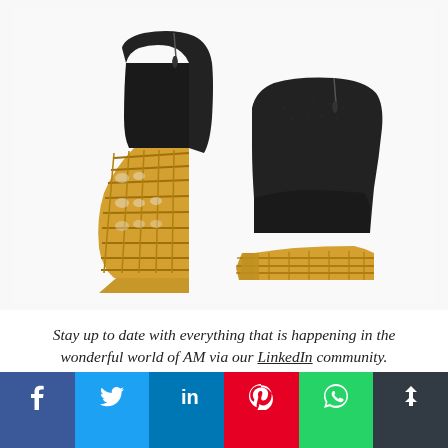[Figure (photo): Two black leather wedge shoes/booties with intricate gold 3D-printed lattice/honeycomb cage heels and platforms, displayed on white background]
Stay up to date with everything that is happening in the wonderful world of AM via our LinkedIn community.